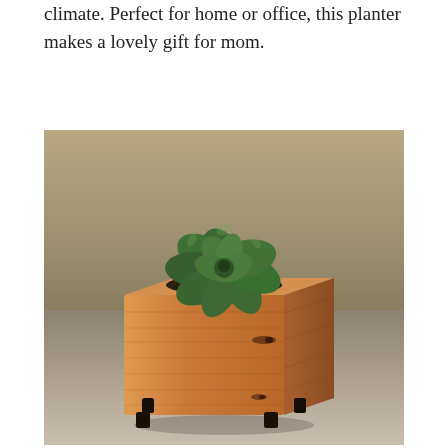climate. Perfect for home or office, this planter makes a lovely gift for mom.
[Figure (photo): A photograph of a succulent plant growing in a small wooden cube-shaped planter box with visible wood grain and knots, sitting on small dark feet on a neutral surface against a tan/beige background.]